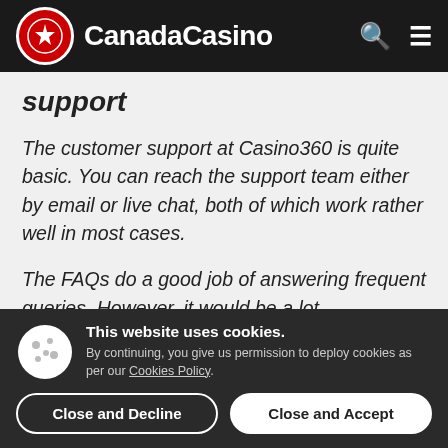CanadaCasino
support
The customer support at Casino360 is quite basic. You can reach the support team either by email or live chat, both of which work rather well in most cases.
The FAQs do a good job of answering frequent queries. However, it would be a lot
This website uses cookies. By continuing, you give us permission to deploy cookies as per our Cookies Policy.